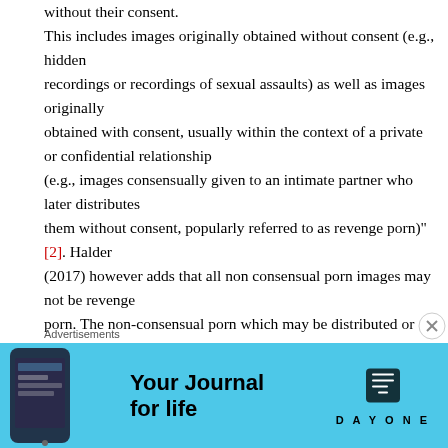without their consent. This includes images originally obtained without consent (e.g., hidden recordings or recordings of sexual assaults) as well as images originally obtained with consent, usually within the context of a private or confidential relationship (e.g., images consensually given to an intimate partner who later distributes them without consent, popularly referred to as revenge porn)"[2]. Halder (2017) however adds that all non consensual porn images may not be revenge porn. The non-consensual porn which may be distributed or may be stored to distribute motive to take revenge may be considered as
Advertisements
[Figure (infographic): Day One app advertisement banner with blue background, phone image on left, 'Your Journal for life' text in center, and Day One logo/brand on right]